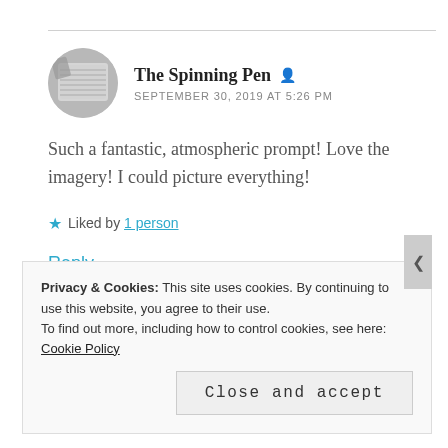The Spinning Pen  SEPTEMBER 30, 2019 AT 5:26 PM
Such a fantastic, atmospheric prompt! Love the imagery! I could picture everything!
★ Liked by 1 person
Reply
Privacy & Cookies: This site uses cookies. By continuing to use this website, you agree to their use.
To find out more, including how to control cookies, see here: Cookie Policy
Close and accept